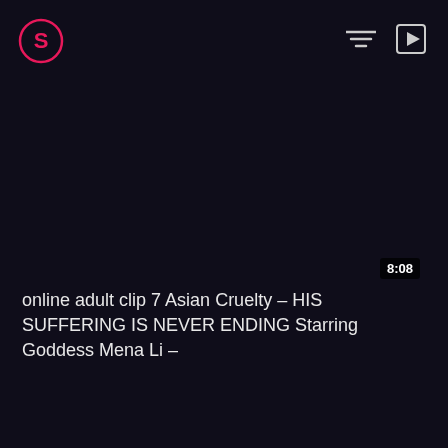[Figure (logo): Circular logo with stylized S letter in pink/magenta on dark background]
[Figure (other): Filter/sort icon - three horizontal lines of decreasing length]
[Figure (other): Playlist/queue icon - rectangle with play triangle]
8:08
online adult clip 7 Asian Cruelty – HIS SUFFERING IS NEVER ENDING Starring Goddess Mena Li –